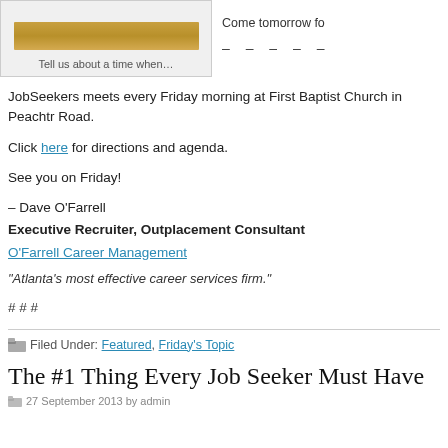[Figure (photo): Partial image showing a gold/brown horizontal bar, with caption 'Tell us about a time when...' below it]
Tell us about a time when…
JobSeekers meets every Friday morning at First Baptist Church in Peachtree Road.
Click here for directions and agenda.
See you on Friday!
– Dave O'Farrell
Executive Recruiter, Outplacement Consultant
O'Farrell Career Management
“Atlanta’s most effective career services firm.”
# # #
Filed Under: Featured, Friday's Topic
The #1 Thing Every Job Seeker Must Have